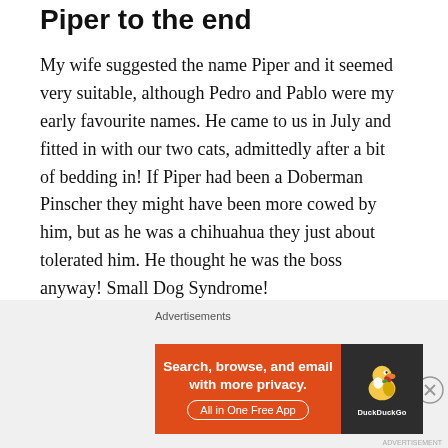Piper to the end
My wife suggested the name Piper and it seemed very suitable, although Pedro and Pablo were my early favourite names. He came to us in July and fitted in with our two cats, admittedly after a bit of bedding in! If Piper had been a Doberman Pinscher they might have been more cowed by him, but as he was a chihuahua they just about tolerated him. He thought he was the boss anyway! Small Dog Syndrome!

Now I’d got my own dog there was no way I could leave him behind even if I wanted to go abroad
[Figure (screenshot): DuckDuckGo advertisement banner: orange background with text 'Search, browse, and email with more privacy. All in One Free App' and DuckDuckGo duck logo on dark background]